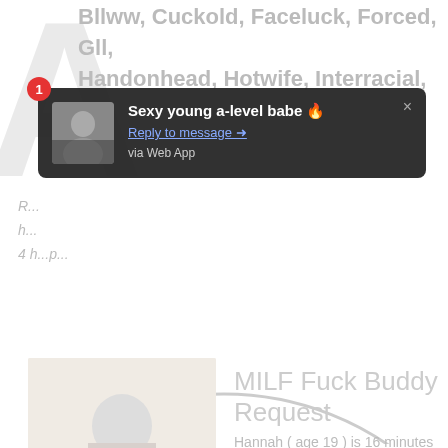Bllww, Cuckold, Faceluck, Forced, Gll, Handonhead, Hotwife, Interracial,
[Figure (screenshot): Push notification overlay with dark background showing: badge '1', avatar of a woman, bold title 'Sexy young a-level babe', 'Reply to message →' underlined link, 'via Web App' subtext, and an X close button.]
MILF Fuck Buddy Request
Hannah ( age 19 ) is 16 minutes from you
CLICK HERE to view photos!
[Figure (illustration): Large light grey circle arc visible at bottom of page, and a faded large letter A watermark on the left side.]